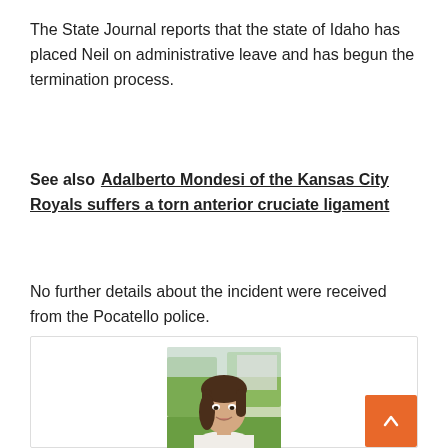The State Journal reports that the state of Idaho has placed Neil on administrative leave and has begun the termination process.
See also  Adalberto Mondesi of the Kansas City Royals suffers a torn anterior cruciate ligament
No further details about the incident were received from the Pocatello police.
[Figure (photo): Headshot photo of Teri Riley, a young woman with shoulder-length brown hair, smiling, wearing a white top, outdoors with green grass and trees in the background.]
Teri Riley